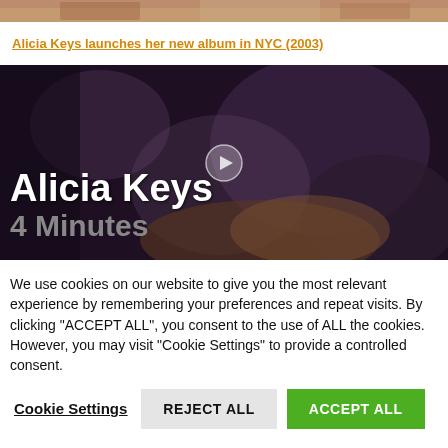[Figure (photo): Top strip of a photo showing warm-toned image, partially cropped at top of page]
Alicia Keys launches her new album in NYC (2003)
[Figure (screenshot): Video thumbnail showing dark background with text 'Alicia Keys' in large white bold font and '4 Minutes' in large grey bold font, with a circular play button overlay]
We use cookies on our website to give you the most relevant experience by remembering your preferences and repeat visits. By clicking "ACCEPT ALL", you consent to the use of ALL the cookies. However, you may visit "Cookie Settings" to provide a controlled consent.
Cookie Settings
REJECT ALL
ACCEPT ALL